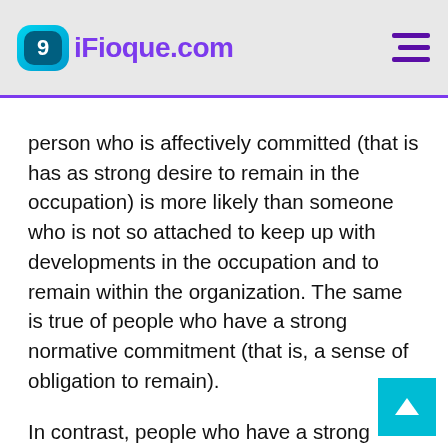9iFioque.com
person who is affectively committed (that is has as strong desire to remain in the occupation) is more likely than someone who is not so attached to keep up with developments in the occupation and to remain within the organization. The same is true of people who have a strong normative commitment (that is, a sense of obligation to remain).
In contrast, people who have a strong continuance commitment (that is, those who recognize the high costs associated with leaving the occupation) are more likely...